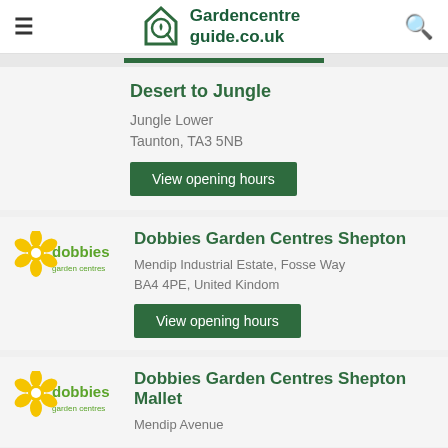Gardencentreguide.co.uk
Desert to Jungle
Jungle Lower
Taunton, TA3 5NB
View opening hours
Dobbies Garden Centres Shepton
[Figure (logo): Dobbies garden centres logo - yellow flower with green text]
Mendip Industrial Estate, Fosse Way
BA4 4PE, United Kindom
View opening hours
Dobbies Garden Centres Shepton Mallet
Mendip Avenue
[Figure (logo): Dobbies garden centres logo - yellow flower with green text (partial)]